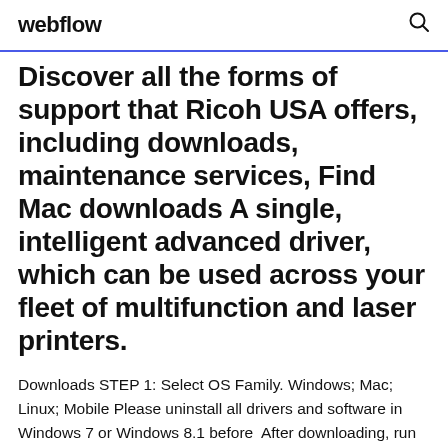webflow
Discover all the forms of support that Ricoh USA offers, including downloads, maintenance services, Find Mac downloads A single, intelligent advanced driver, which can be used across your fleet of multifunction and laser printers.
Downloads STEP 1: Select OS Family. Windows; Mac; Linux; Mobile Please uninstall all drivers and software in Windows 7 or Windows 8.1 before  After downloading, run the driver installation and follow the instructions. Elgato Video Capture 11.5 will work on an Intel Mac